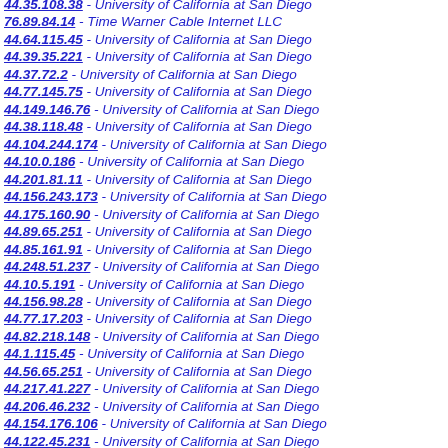44.35.108.38 - University of California at San Diego
76.89.84.14 - Time Warner Cable Internet LLC
44.64.115.45 - University of California at San Diego
44.39.35.221 - University of California at San Diego
44.37.72.2 - University of California at San Diego
44.77.145.75 - University of California at San Diego
44.149.146.76 - University of California at San Diego
44.38.118.48 - University of California at San Diego
44.104.244.174 - University of California at San Diego
44.10.0.186 - University of California at San Diego
44.201.81.11 - University of California at San Diego
44.156.243.173 - University of California at San Diego
44.175.160.90 - University of California at San Diego
44.89.65.251 - University of California at San Diego
44.85.161.91 - University of California at San Diego
44.248.51.237 - University of California at San Diego
44.10.5.191 - University of California at San Diego
44.156.98.28 - University of California at San Diego
44.77.17.203 - University of California at San Diego
44.82.218.148 - University of California at San Diego
44.1.115.45 - University of California at San Diego
44.56.65.251 - University of California at San Diego
44.217.41.227 - University of California at San Diego
44.206.46.232 - University of California at San Diego
44.154.176.106 - University of California at San Diego
44.122.45.231 - University of California at San Diego
44.48.145.75 - University of California at San Diego
44.144.242.172 - University of California at San Diego
44.56.25.211 - University of California at San Diego
44.141.252.182 - University of California at San Diego
44.212.235.185 - University of California at San Diego